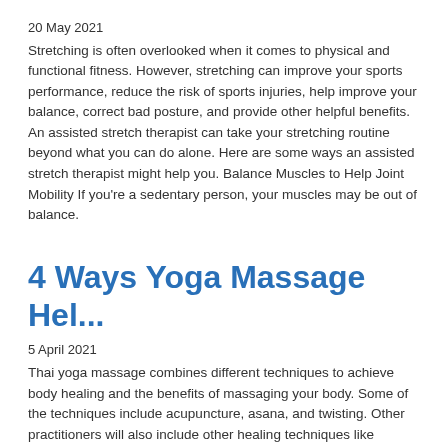20 May 2021
Stretching is often overlooked when it comes to physical and functional fitness. However, stretching can improve your sports performance, reduce the risk of sports injuries, help improve your balance, correct bad posture, and provide other helpful benefits. An assisted stretch therapist can take your stretching routine beyond what you can do alone. Here are some ways an assisted stretch therapist might help you. Balance Muscles to Help Joint Mobility If you're a sedentary person, your muscles may be out of balance.
4 Ways Yoga Massage Hel...
5 April 2021
Thai yoga massage combines different techniques to achieve body healing and the benefits of massaging your body. Some of the techniques include acupuncture, asana, and twisting. Other practitioners will also include other healing techniques like thumbing, stretching, and palming.  These massaging practices offer different benefits depending on the area of application.